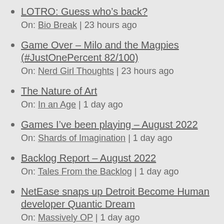LOTRO: Guess who’s back?
On: Bio Break | 23 hours ago
Game Over – Milo and the Magpies (#JustOnePercent 82/100)
On: Nerd Girl Thoughts | 23 hours ago
The Nature of Art
On: In an Age | 1 day ago
Games I’ve been playing – August 2022
On: Shards of Imagination | 1 day ago
Backlog Report – August 2022
On: Tales From the Backlog | 1 day ago
NetEase snaps up Detroit Become Human developer Quantic Dream
On: Massively OP | 1 day ago